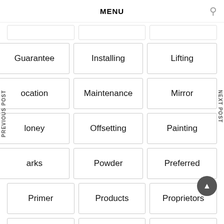MENU
Guarantee
Installing
Lifting
Location
Maintenance
Mirror
Money
Offsetting
Painting
Marks
Powder
Preferred
Primer
Products
Proprietors
Range
Services
Signifies